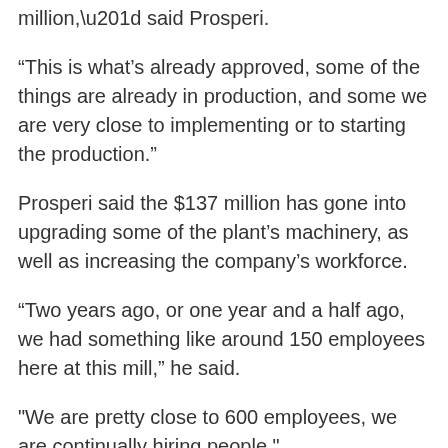million,” said Prosperi.
“This is what’s already approved, some of the things are already in production, and some we are very close to implementing or to starting the production.”
Prosperi said the $137 million has gone into upgrading some of the plant’s machinery, as well as increasing the company’s workforce.
“Two years ago, or one year and a half ago, we had something like around 150 employees here at this mill,” he said.
"We are pretty close to 600 employees, we are continually hiring people."
Prosperi said COVID-19 made for some challenging times for the company, but added…